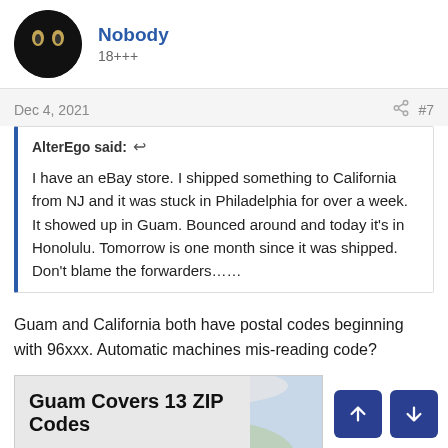Nobody
18+++
Dec 4, 2021
#7
AlterEgo said: ↺

I have an eBay store. I shipped something to California from NJ and it was stuck in Philadelphia for over a week. It showed up in Guam. Bounced around and today it's in Honolulu. Tomorrow is one month since it was shipped. Don't blame the forwarders……
Guam and California both have postal codes beginning with 96xxx. Automatic machines mis-reading code?
[Figure (infographic): Infographic showing 'Guam Covers 13 ZIP Codes' with a list of ZIP codes (96910, 96912, 96913) and a partial world map in the background]